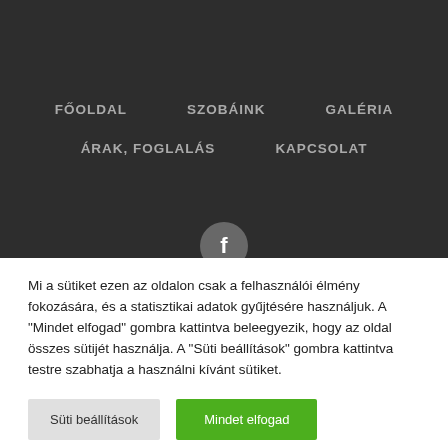[Figure (screenshot): Dark navigation menu with items: FŐOLDAL, SZOBÁINK, GALÉRIA, ÁRAK FOGLALÁS, KAPCSOLAT, and a circular Facebook icon at the bottom]
Mi a sütiket ezen az oldalon csak a felhasználói élmény fokozására, és a statisztikai adatok gyűjtésére használjuk. A "Mindet elfogad" gombra kattintva beleegyezik, hogy az oldal összes sütijét használja. A "Süti beállítások" gombra kattintva testre szabhatja a használni kívánt sütiket.
Süti beállítások
Mindet elfogad